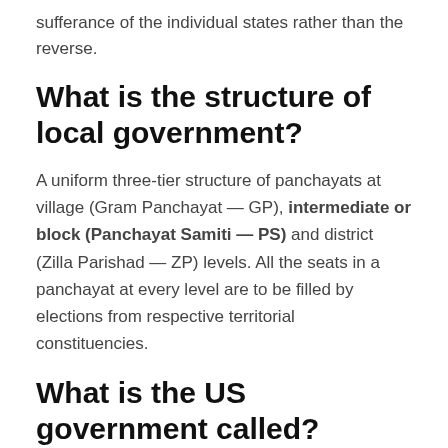sufferance of the individual states rather than the reverse.
What is the structure of local government?
A uniform three-tier structure of panchayats at village (Gram Panchayat — GP), intermediate or block (Panchayat Samiti — PS) and district (Zilla Parishad — ZP) levels. All the seats in a panchayat at every level are to be filled by elections from respective territorial constituencies.
What is the US government called?
The federal government of the United States
Is amendment a law?